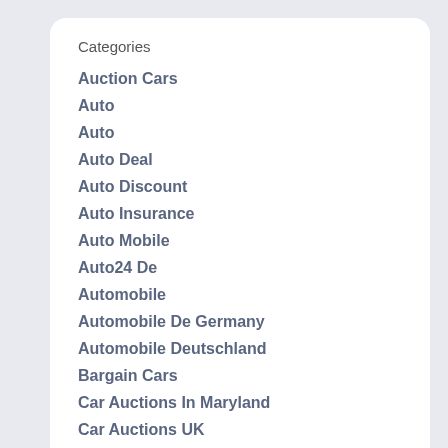Categories
Auction Cars
Auto
Auto
Auto Deal
Auto Discount
Auto Insurance
Auto Mobile
Auto24 De
Automobile
Automobile De Germany
Automobile Deutschland
Bargain Cars
Car Auctions In Maryland
Car Auctions UK
Car Book Value
Car Specials
Cars
Cheap